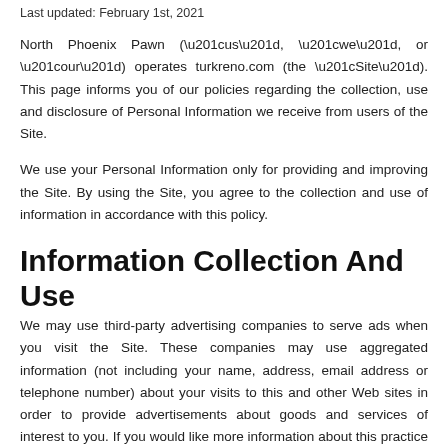Last updated: February 1st, 2021
North Phoenix Pawn (“us”, “we”, or “our”) operates turkrno.com (the “Site”). This page informs you of our policies regarding the collection, use and disclosure of Personal Information we receive from users of the Site.
We use your Personal Information only for providing and improving the Site. By using the Site, you agree to the collection and use of information in accordance with this policy.
Information Collection And Use
We may use third-party advertising companies to serve ads when you visit the Site. These companies may use aggregated information (not including your name, address, email address or telephone number) about your visits to this and other Web sites in order to provide advertisements about goods and services of interest to you. If you would like more information about this practice and to know your